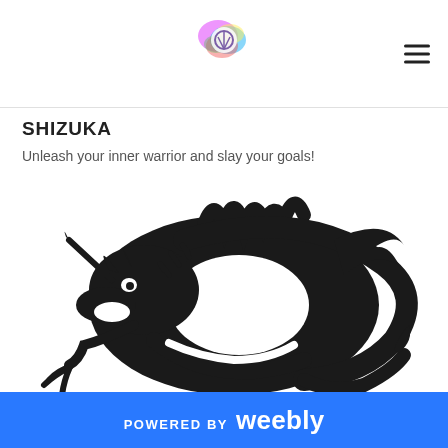SHIZUKA [logo and hamburger menu]
SHIZUKA
Unleash your inner warrior and slay your goals!
[Figure (illustration): Black tribal dragon illustration, circular pose with flames and claws, facing left]
POWERED BY weebly